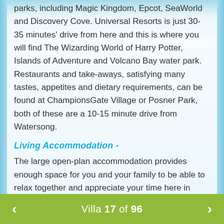parks, including Magic Kingdom, Epcot, SeaWorld and Discovery Cove. Universal Resorts is just 30-35 minutes' drive from here and this is where you will find The Wizarding World of Harry Potter, Islands of Adventure and Volcano Bay water park. Restaurants and take-aways, satisfying many tastes, appetites and dietary requirements, can be found at ChampionsGate Village or Posner Park, both of these are a 10-15 minute drive from Watersong.
Living Accommodation -
The large open-plan accommodation provides enough space for you and your family to be able to relax together and appreciate your time here in Orlando. To the left of the entrance door is a formal lounge with comfy sofas and windows overlooking the front garden, a perfect place to sit and chat or curl up with your favourite novel. At the rear of the villa is the main family lounge, filled with lots of natural light coming from the windows overlooking the pool deck and furnished with a large corner sofa and flatscreen TV. The
Villa 17 of 96